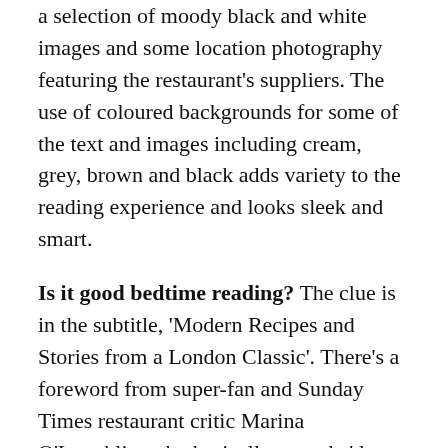a selection of moody black and white images and some location photography featuring the restaurant's suppliers. The use of coloured backgrounds for some of the text and images including cream, grey, brown and black adds variety to the reading experience and looks sleek and smart.
Is it good bedtime reading? The clue is in the subtitle, 'Modern Recipes and Stories from a London Classic'. There's a foreword from super-fan and Sunday Times restaurant critic Marina O'Loughlin, who basically says she'd move into the place if she could, and an introduction, history and day in the life of the restaurant before the main meat of the book. Also included are a few supplier profiles and an article on wine by Gus Gluck who runs the wine bar in the Quality Chop House's shop, next door to the main restaurant.
...